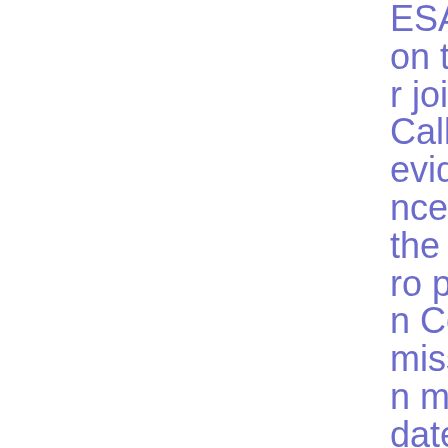ESAs on their joint Call for evidence on the European Commission mandate regarding the PRIIPs Regu
and Markets Stakeholder Group